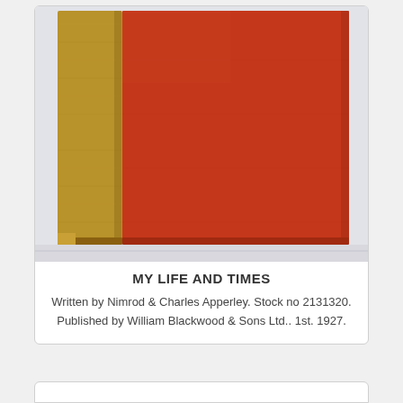[Figure (photo): Photograph of a red cloth-bound hardcover book titled 'My Life and Times', shown angled with the spine visible on the left side (tan/brown fabric) and the red front cover facing right, resting on a white surface.]
MY LIFE AND TIMES
Written by Nimrod & Charles Apperley. Stock no 2131320. Published by William Blackwood & Sons Ltd.. 1st. 1927.